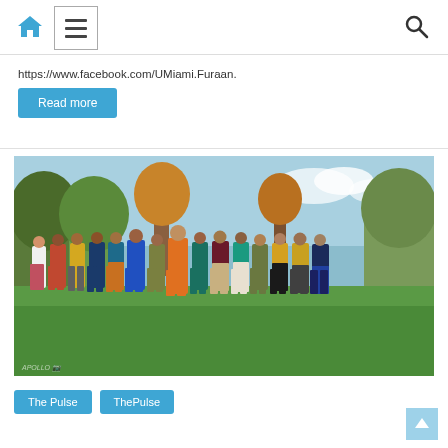Home menu search
https://www.facebook.com/UMiami.Furaan.
Read more
[Figure (photo): Group photo of approximately 15 college students standing in a park with green grass and autumn trees in the background, wearing colorful outfits.]
The Pulse  ThePulse